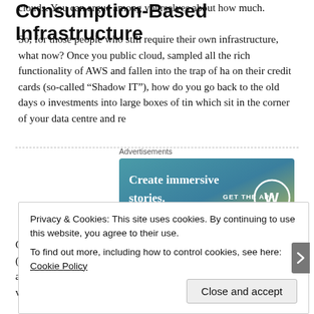clouds. You can argue among yourselves about how much.
So, for those people who still require their own infrastructure, what now? Once you public cloud, sampled all the rich functionality of AWS and fallen into the trap of ha on their credit cards (so-called “Shadow IT”), how do you go back to the old days o investments into large boxes of tin which sit in the corner of your data centre and re
Consumption-Based Infrastructure
[Figure (infographic): WordPress advertisement banner: 'Create immersive stories. GET THE APP' with WordPress logo, gradient background from blue-green to yellow-green]
Ok let’s get to the conclusion. A couple of years ago, Kaminario (my employer) decided to exit the hardware business and become a software company. Like most (almost all) All-Flash storage vendors, Kaminario uses commodity whitebox
Privacy & Cookies: This site uses cookies. By continuing to use this website, you agree to their use.
To find out more, including how to control cookies, see here: Cookie Policy
Close and accept